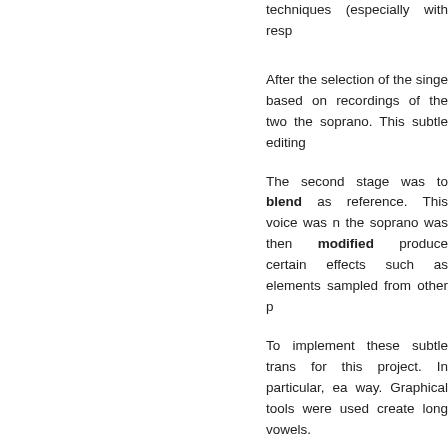techniques (especially with resp
After the selection of the singe based on recordings of the two the soprano. This subtle editing
The second stage was to blend as reference. This voice was n the soprano was then modified produce certain effects such as elements sampled from other p
To implement these subtle trans for this project. In particular, ea way. Graphical tools were used create long vowels.
The digitalized sound was proc 45 minutes of vocal material w repertoire.